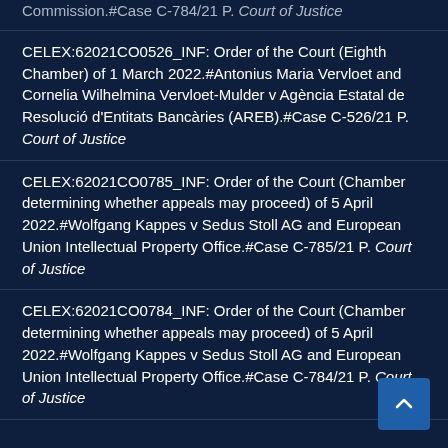Commission.#Case C-784/21 P. Court of Justice
CELEX:62021CO0526_INF: Order of the Court (Eighth Chamber) of 1 March 2022.#Antonius Maria Vervloet and Cornelia Wilhelmina Vervloet-Mulder v Agència Estatal de Resolució d'Entitats Bancàries (AREB).#Case C-526/21 P. Court of Justice
CELEX:62021CO0785_INF: Order of the Court (Chamber determining whether appeals may proceed) of 5 April 2022.#Wolfgang Kappes v Sedus Stoll AG and European Union Intellectual Property Office.#Case C-785/21 P. Court of Justice
CELEX:62021CO0784_INF: Order of the Court (Chamber determining whether appeals may proceed) of 5 April 2022.#Wolfgang Kappes v Sedus Stoll AG and European Union Intellectual Property Office.#Case C-784/21 P. Court of Justice